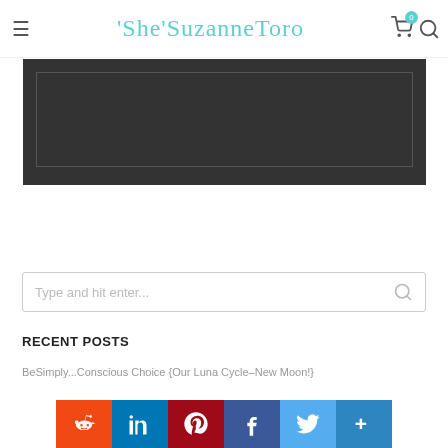'She'SuzanneToro
[Figure (screenshot): Dark gray banner/advertisement placeholder with dark inner border]
[Figure (screenshot): Search bar with placeholder text 'Type and hit enter...' and search icon]
RECENT POSTS
BeSimply...Conscious Choice {Our Luna Cycle–New Moon!}
[Figure (infographic): Social sharing buttons row: Reddit, LinkedIn, Pinterest, Facebook, Twitter, More (+)]